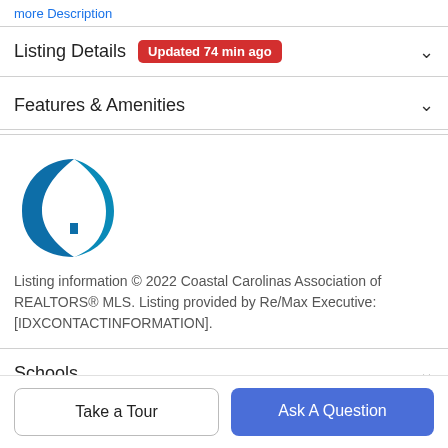more Description
Listing Details  Updated 74 min ago
Features & Amenities
[Figure (logo): Coastal Carolinas Association of REALTORS MLS logo - blue crescent and house icon]
Listing information © 2022 Coastal Carolinas Association of REALTORS® MLS. Listing provided by Re/Max Executive:[IDXCONTACTINFORMATION].
Schools
Take a Tour
Ask A Question